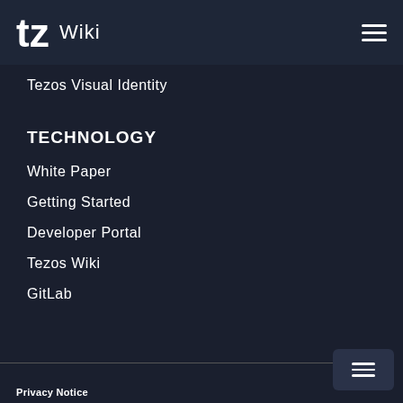tz Wiki
Tezos Visual Identity
TECHNOLOGY
White Paper
Getting Started
Developer Portal
Tezos Wiki
GitLab
Privacy Notice